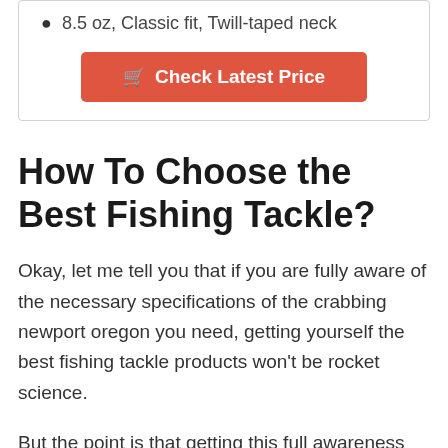8.5 oz, Classic fit, Twill-taped neck
Check Latest Price
How To Choose the Best Fishing Tackle?
Okay, let me tell you that if you are fully aware of the necessary specifications of the crabbing newport oregon you need, getting yourself the best fishing tackle products won't be rocket science.
But the point is that getting this full awareness isn't easy, it needs a lot of effort and time to research and...